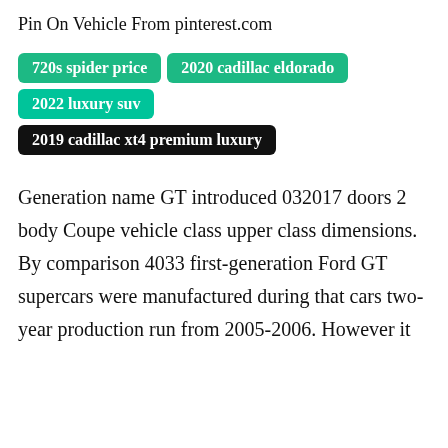Pin On Vehicle From pinterest.com
720s spider price
2020 cadillac eldorado
2022 luxury suv
2019 cadillac xt4 premium luxury
Generation name GT introduced 032017 doors 2 body Coupe vehicle class upper class dimensions. By comparison 4033 first-generation Ford GT supercars were manufactured during that cars two-year production run from 2005-2006. However it